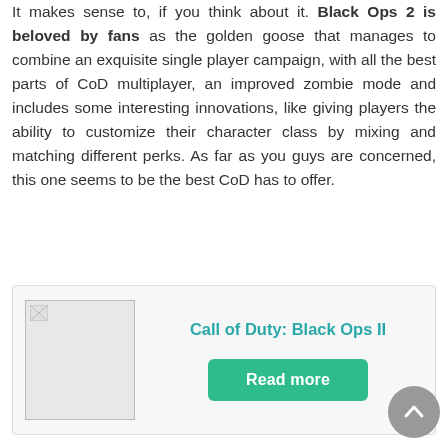It makes sense to, if you think about it. Black Ops 2 is beloved by fans as the golden goose that manages to combine an exquisite single player campaign, with all the best parts of CoD multiplayer, an improved zombie mode and includes some interesting innovations, like giving players the ability to customize their character class by mixing and matching different perks. As far as you guys are concerned, this one seems to be the best CoD has to offer.
[Figure (other): Card with broken image placeholder, title 'Call of Duty: Black Ops II' in teal, and a green 'Read more' button]